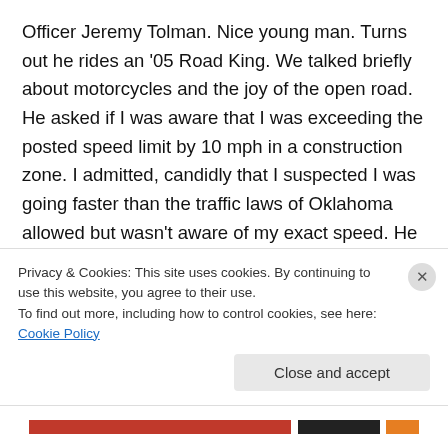Officer Jeremy Tolman. Nice young man. Turns out he rides an '05 Road King. We talked briefly about motorcycles and the joy of the open road. He asked if I was aware that I was exceeding the posted speed limit by 10 mph in a construction zone. I admitted, candidly that I suspected I was going faster than the traffic laws of Oklahoma allowed but wasn't aware of my exact speed. He showed me on the control panel inside his patrol car that I had, in fact, been riding faster than the traffic engineers deemed safe and appropriate for the conditions. He asked if I would go slower, at least until I got to
Privacy & Cookies: This site uses cookies. By continuing to use this website, you agree to their use.
To find out more, including how to control cookies, see here: Cookie Policy
Close and accept